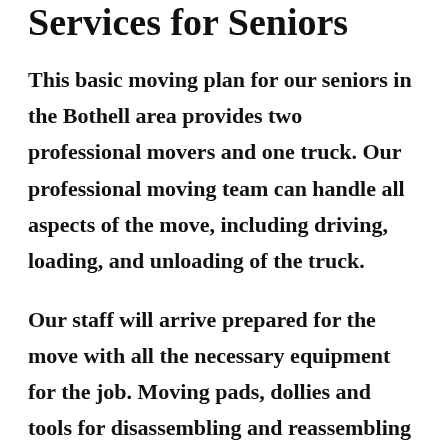Services for Seniors
This basic moving plan for our seniors in the Bothell area provides two professional movers and one truck. Our professional moving team can handle all aspects of the move, including driving, loading, and unloading of the truck.
Our staff will arrive prepared for the move with all the necessary equipment for the job. Moving pads, dollies and tools for disassembling and reassembling your furniture will be provided, and any furniture that our movers disassemble they will reassemble at the end location. Our professional movers will provide surface